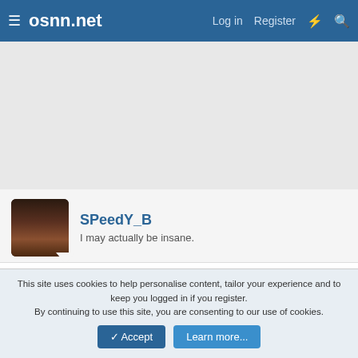osnn.net  Log in  Register
[Figure (other): Advertisement banner area, light gray background]
SPeedY_B
I may actually be insane.
6 Sep 2006  #4
Woot. More Wii's sold at Christmas in EU then. I'd like if people
This site uses cookies to help personalise content, tailor your experience and to keep you logged in if you register.
By continuing to use this site, you are consenting to our use of cookies.
Accept  Learn more...